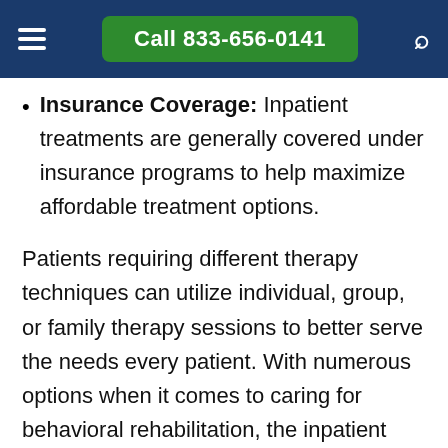Call 833-656-0141
Insurance Coverage: Inpatient treatments are generally covered under insurance programs to help maximize affordable treatment options.
Patients requiring different therapy techniques can utilize individual, group, or family therapy sessions to better serve the needs every patient. With numerous options when it comes to caring for behavioral rehabilitation, the inpatient recovery centers in Alburnett, Iowa, have all the tools needed to guide patients through successful rehabilitation, the